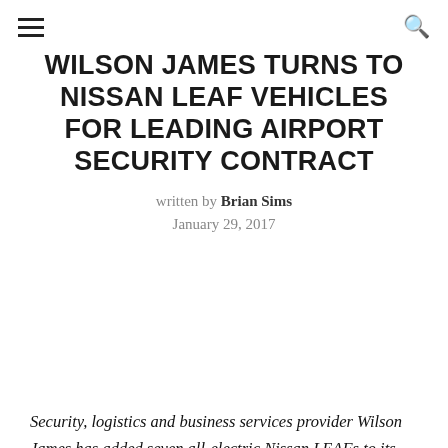≡  🔍
WILSON JAMES TURNS TO NISSAN LEAF VEHICLES FOR LEADING AIRPORT SECURITY CONTRACT
written by Brian Sims
January 29, 2017
Security, logistics and business services provider Wilson James has added seven all-electric Nissan LEAFs to its vehicle fleet for use as part of the company's operation at one of the country's leading